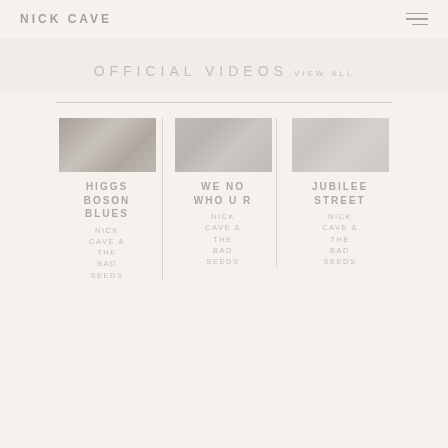NICK CAVE
OFFICIAL VIDEOS VIEW ALL
[Figure (photo): Thumbnail image for Higgs Boson Blues music video - dark toned photo]
HIGGS BOSON BLUES
NICK CAVE & THE BAD SEEDS
[Figure (photo): Thumbnail image for We No Who U R music video - forest/trees]
WE NO WHO U R
NICK CAVE & THE BAD SEEDS
[Figure (photo): Thumbnail image for Jubilee Street music video - colorful toned]
JUBILEE STREET
NICK CAVE & THE BAD SEEDS